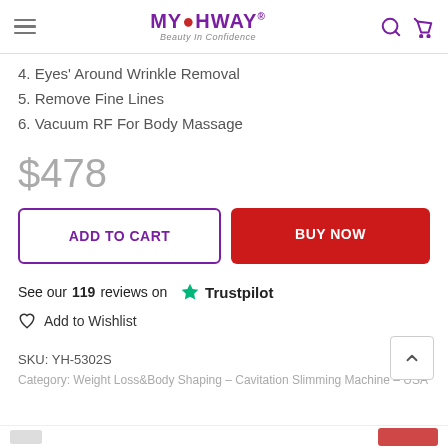MYCHWAY® Beauty In Confidence
4. Eyes' Around Wrinkle Removal
5. Remove Fine Lines
6. Vacuum RF For Body Massage
$478
ADD TO CART
BUY NOW
See our 119 reviews on ★ Trustpilot
♡ Add to Wishlist
SKU: YH-5302S
Category: Weight Loss&Body Shaping – Cavitation Slimming Machine – USA